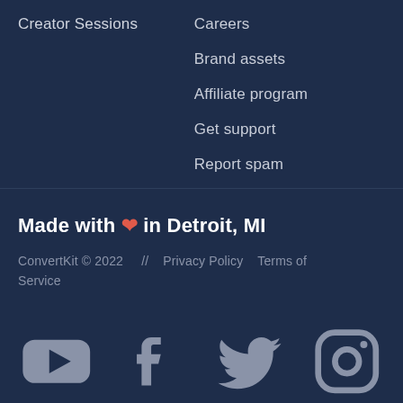Creator Sessions
Careers
Brand assets
Affiliate program
Get support
Report spam
Made with ❤ in Detroit, MI
ConvertKit © 2022  //  Privacy Policy  Terms of Service
[Figure (infographic): Social media icons: YouTube, Facebook, Twitter, Instagram]